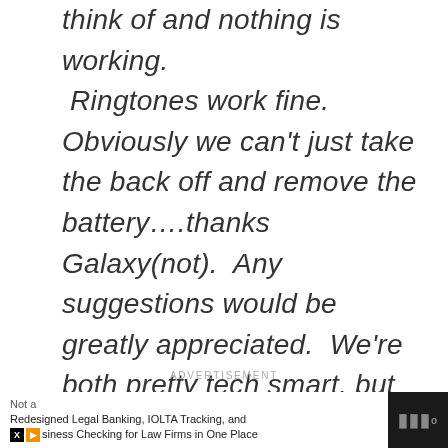think of and nothing is working.  Ringtones work fine.  Obviously we can't just take the back off and remove the battery….thanks Galaxy(not).  Any suggestions would be greatly appreciated.  We're both pretty tech smart, but we are missing this one completely.  I've reset it so many times I'm losing my mind!  Help!
ADVERTISEMENT
Not a Redesigned Legal Banking, IOLTA Tracking, and Business Checking for Law Firms in One Place